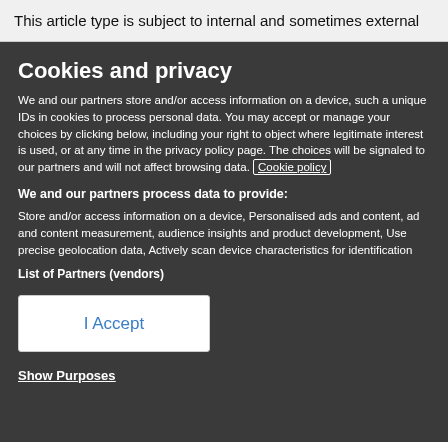This article type is subject to internal and sometimes external
Cookies and privacy
We and our partners store and/or access information on a device, such a unique IDs in cookies to process personal data. You may accept or manage your choices by clicking below, including your right to object where legitimate interest is used, or at any time in the privacy policy page. These choices will be signaled to our partners and will not affect browsing data. Cookie policy
We and our partners process data to provide:
Store and/or access information on a device, Personalised ads and content, ad and content measurement, audience insights and product development, Use precise geolocation data, Actively scan device characteristics for identification
List of Partners (vendors)
I Accept
Show Purposes